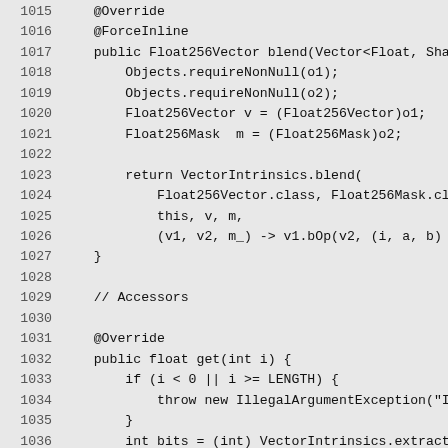[Figure (screenshot): Java source code snippet showing Float256Vector blend and get methods, with line numbers 1015-1045]